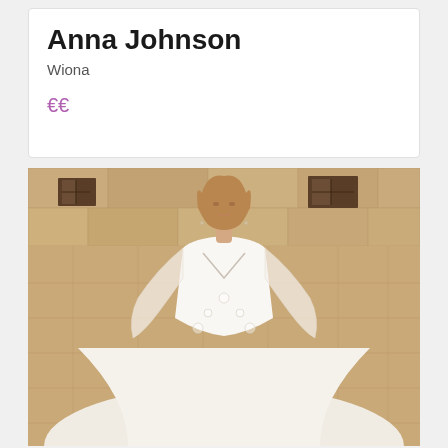Anna Johnson
Wiona
€€
[Figure (photo): A woman wearing a white lace bridal gown with long sheer lace sleeves and a V-neckline ballgown silhouette, standing outdoors in front of a stone building.]